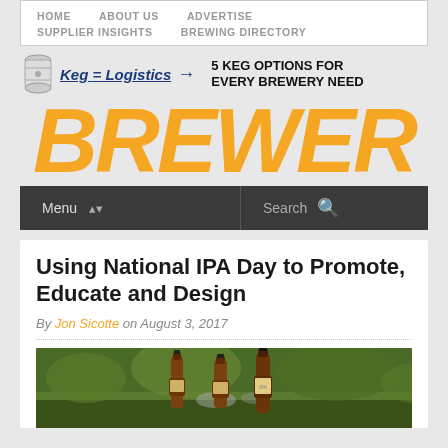HOME   ABOUT US   ADVERTISE   SUPPLIER INSIGHTS   BREWING DIRECTORY
[Figure (logo): Keg Logistics logo with keg icon and arrow, with tagline '5 KEG OPTIONS FOR EVERY BREWERY NEED']
BREWER
Menu   Search
Using National IPA Day to Promote, Educate and Design
By Jon Sicotte on August 3, 2017
[Figure (photo): Outdoor photo of beer bottles standing in grass, with greenery in the background]